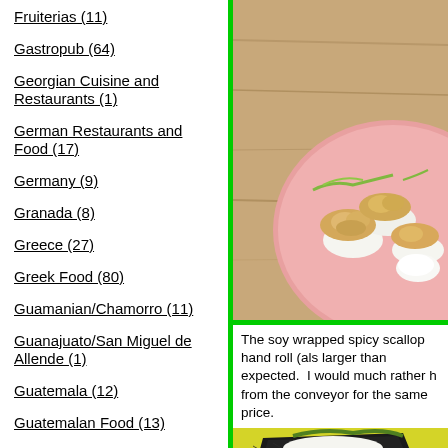Fruiterias (11)
Gastropub (64)
Georgian Cuisine and Restaurants (1)
German Restaurants and Food (17)
Germany (9)
Granada (8)
Greece (27)
Greek Food (80)
Guamanian/Chamorro (11)
Guanajuato/San Miguel de Allende (1)
Guatemala (12)
Guatemalan Food (13)
Hangzhou (5)
Hanoi (13)
Hawai'i - The Big Island (11)
Hawaiian Food (17)
Hida-Takayama and Gifu Prefecture (6)
[Figure (photo): Close-up photo of sushi pieces on a pink plate, showing spicy scallop hand rolls with rice, on a wooden table background.]
The soy wrapped spicy scallop hand roll (also larger than expected.  I would much rather ha from the conveyor for the same price.
[Figure (photo): Close-up photo of a hand roll with nori seaweed wrap on a yellow plate.]